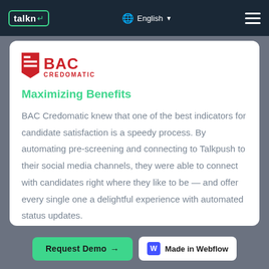talkn | English | Menu
[Figure (logo): BAC Credomatic logo with red triangular flag icon and bold red BAC CREDOMATIC text]
Maximizing Benefits
BAC Credomatic knew that one of the best indicators for candidate satisfaction is a speedy process. By automating pre-screening and connecting to Talkpush to their social media channels, they were able to connect with candidates right where they like to be — and offer every single one a delightful experience with automated status updates.
Request Demo → | Made in Webflow